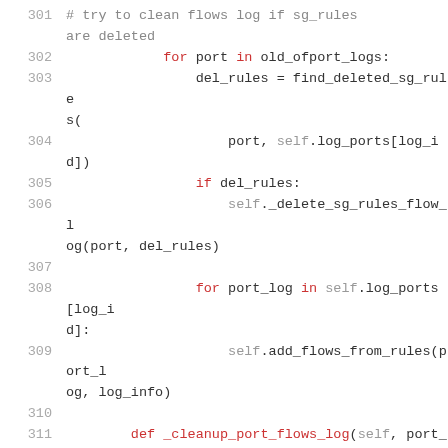Code listing lines 301-315, Python source code for flow log management
301    # try to clean flows log if sg_rules are deleted
302        for port in old_ofport_logs:
303            del_rules = find_deleted_sg_rules(
304                port, self.log_ports[log_id])
305            if del_rules:
306                self._delete_sg_rules_flow_log(port, del_rules)
307
308            for port_log in self.log_ports[log_id]:
309                self.add_flows_from_rules(port_log, log_info)
310
311    def _cleanup_port_flows_log(self, port_id):
312        cookies_list = self._get_cookies_by_port(port_id)
313        for cookie in cookies_list:
314            if cookie.action == log_const.ACCEPT_EVENT:
315                self.delete_flows(